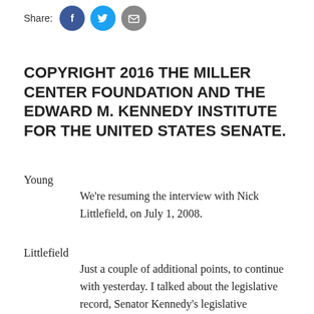[Figure (other): Share bar with Facebook, Twitter, and email social icons]
COPYRIGHT 2016 THE MILLER CENTER FOUNDATION AND THE EDWARD M. KENNEDY INSTITUTE FOR THE UNITED STATES SENATE.
Young
    We’re resuming the interview with Nick Littlefield, on July 1, 2008.
Littlefield
    Just a couple of additional points, to continue with yesterday. I talked about the legislative record, Senator Kennedy’s legislative achievements between 1989 and 1994, from the beginning of the President [George H.W.] Bush Administration, through the first two years of the [William J.] Clinton Administration, when Senator